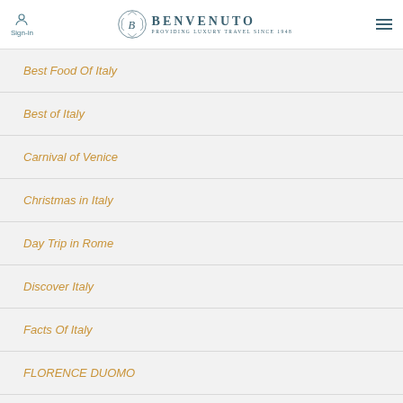Benvenuto — Providing Luxury Travel Since 1948 | Sign-in
Best Food Of Italy
Best of Italy
Carnival of Venice
Christmas in Italy
Day Trip in Rome
Discover Italy
Facts Of Italy
FLORENCE DUOMO
Food And Wine
General